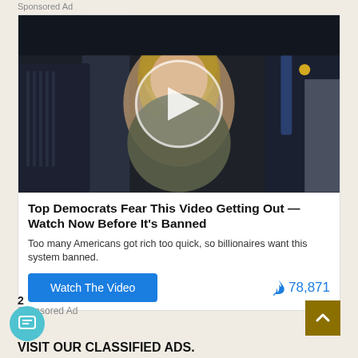Sponsored Ad
[Figure (photo): Video thumbnail showing a woman surrounded by people in dark clothing, with a semi-transparent white play button circle overlaid in the center]
Top Democrats Fear This Video Getting Out — Watch Now Before It's Banned
Too many Americans got rich too quick, so billionaires want this system banned.
Watch The Video   🔥 78,871
2
Sponsored Ad
VISIT OUR CLASSIFIED ADS.